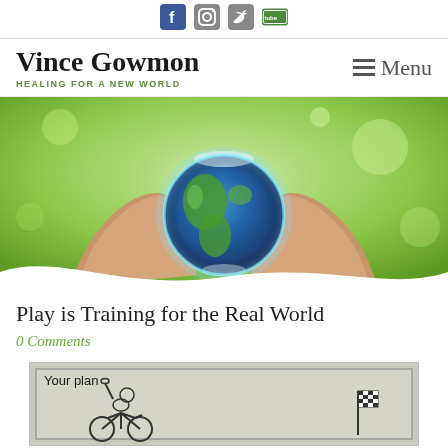[Figure (infographic): Social media icons (Facebook, Instagram, Twitter, YouTube) centered at top]
Vince Gowmon
HEALING FOR A NEW WORLD
Menu
[Figure (photo): Hands cupping a glowing Earth globe against a green bokeh background]
Play is Training for the Real World
0 Comments
[Figure (illustration): Comic-style illustration showing 'Your plan' with a cyclist on the left and a checkered flag on the right, on a grey textured background]